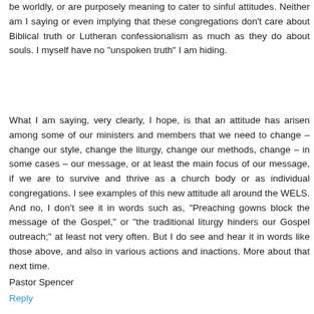be worldly, or are purposely meaning to cater to sinful attitudes. Neither am I saying or even implying that these congregations don't care about Biblical truth or Lutheran confessionalism as much as they do about souls. I myself have no "unspoken truth" I am hiding.
What I am saying, very clearly, I hope, is that an attitude has arisen among some of our ministers and members that we need to change – change our style, change the liturgy, change our methods, change – in some cases – our message, or at least the main focus of our message, if we are to survive and thrive as a church body or as individual congregations. I see examples of this new attitude all around the WELS. And no, I don't see it in words such as, "Preaching gowns block the message of the Gospel," or "the traditional liturgy hinders our Gospel outreach;" at least not very often. But I do see and hear it in words like those above, and also in various actions and inactions. More about that next time.
Pastor Spencer
Reply